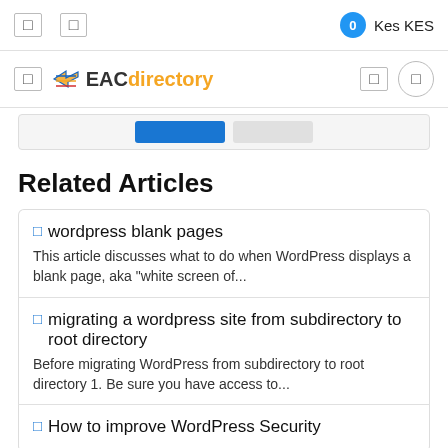0  Kes KES
EACdirectory
Related Articles
wordpress blank pages
This article discusses what to do when WordPress displays a blank page, aka "white screen of...
migrating a wordpress site from subdirectory to root directory
Before migrating WordPress from subdirectory to root directory 1. Be sure you have access to...
How to improve WordPress Security